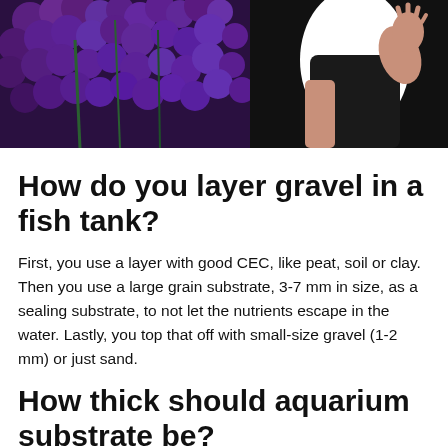[Figure (photo): A person in a dark shirt with hand raised, background with purple grape-like clusters and dark scenery]
How do you layer gravel in a fish tank?
First, you use a layer with good CEC, like peat, soil or clay. Then you use a large grain substrate, 3-7 mm in size, as a sealing substrate, to not let the nutrients escape in the water. Lastly, you top that off with small-size gravel (1-2 mm) or just sand.
How thick should aquarium substrate be?
Substrate material should be between 3 and